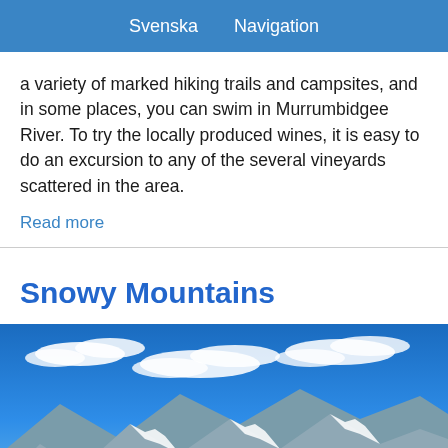Svenska  Navigation
a variety of marked hiking trails and campsites, and in some places, you can swim in Murrumbidgee River. To try the locally produced wines, it is easy to do an excursion to any of the several vineyards scattered in the area.
Read more
Snowy Mountains
[Figure (photo): Panoramic mountain landscape with snow-capped peaks under a vivid blue sky with scattered white clouds]